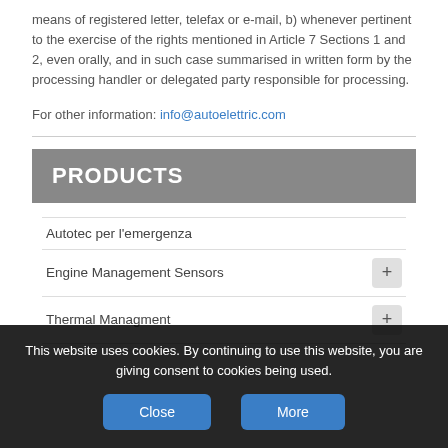means of registered letter, telefax or e-mail, b) whenever pertinent to the exercise of the rights mentioned in Article 7 Sections 1 and 2, even orally, and in such case summarised in written form by the processing handler or delegated party responsible for processing.
For other information: info@autoelettric.com
PRODUCTS
Autotec per l'emergenza
Engine Management Sensors
Thermal Managment
This website uses cookies. By continuing to use this website, you are giving consent to cookies being used.